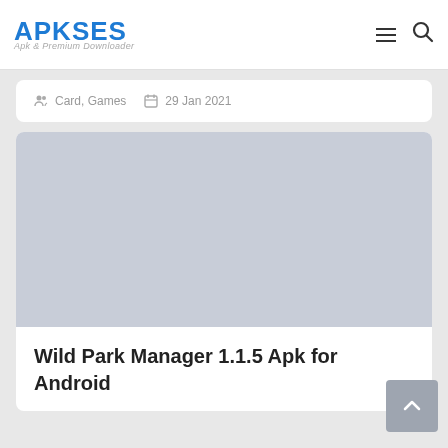APKSES - Apk & Premium Downloader
Card, Games   29 Jan 2021
[Figure (screenshot): Gray placeholder image for Wild Park Manager app]
Wild Park Manager 1.1.5 Apk for Android